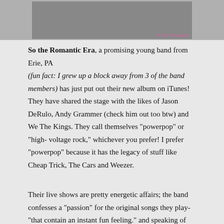[Figure (photo): A group photo of band members in dark clothing, likely outdoors. Pink text watermark in the bottom right corner reading 'KC Sun Photography'.]
So the Romantic Era, a promising young band from Erie, PA (fun fact:  I grew up a block away from 3 of the band members) has just put out their new album on iTunes! They have shared the stage with the likes of Jason DeRulo, Andy Grammer (check him out too btw) and We The Kings. They call themselves "powerpop" or "high-voltage rock," whichever you prefer! I prefer "powerpop" because it has the legacy of stuff like Cheap Trick, The Cars and Weezer.
Their live shows are pretty energetic affairs; the band confesses a "passion" for the original songs they play- "that contain an instant fun feeling." and speaking of the band, here they are: